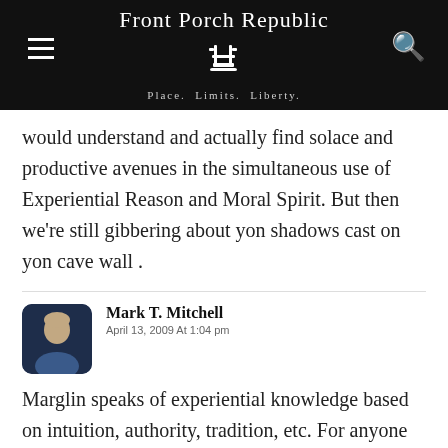Front Porch Republic — Place. Limits. Liberty.
would understand and actually find solace and productive avenues in the simultaneous use of Experiential Reason and Moral Spirit. But then we're still gibbering about yon shadows cast on yon cave wall .
Mark T. Mitchell
April 13, 2009 At 1:04 pm
Marglin speaks of experiential knowledge based on intuition, authority, tradition, etc. For anyone interested in exploring this in more detail, I recommend the work